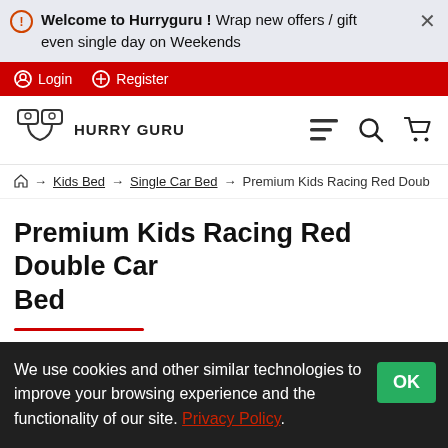Welcome to Hurryguru ! Wrap new offers / gift even single day on Weekends
Login  Register
HURRY GURU
Home → Kids Bed → Single Car Bed → Premium Kids Racing Red Doub
Premium Kids Racing Red Double Car Bed
We use cookies and other similar technologies to improve your browsing experience and the functionality of our site. Privacy Policy.